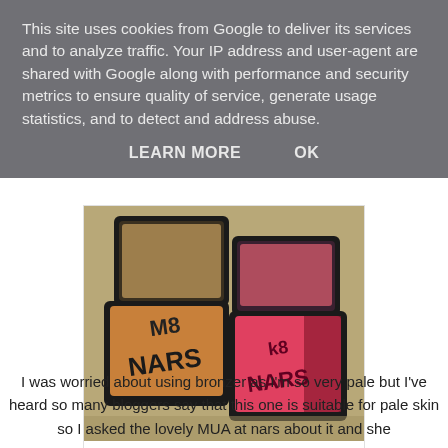This site uses cookies from Google to deliver its services and to analyze traffic. Your IP address and user-agent are shared with Google along with performance and security metrics to ensure quality of service, generate usage statistics, and to detect and address abuse.
LEARN MORE    OK
[Figure (photo): Two open NARS makeup compacts (one bronzer, one blush in pink/rose) photographed on a stone surface outdoors]
Soo pretty!
I was worried about using bronzer as I'm so very pale but I've heard so many bloggers say that this one is suitable for pale skin so I asked the lovely MUA at nars about it and she